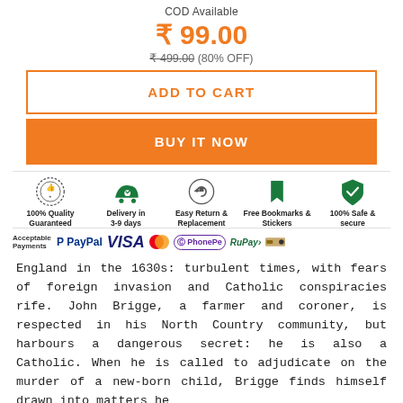COD Available
₹ 99.00
₹ 499.00 (80% OFF)
ADD TO CART
BUY IT NOW
[Figure (infographic): Trust badges: 100% Quality Guaranteed, Delivery in 3-9 days, Easy Return & Replacement, Free Bookmarks & Stickers, 100% Safe & secure]
[Figure (infographic): Acceptable Payments: PayPal, VISA, MasterCard, PhonePe, RuPay, and a van icon]
England in the 1630s: turbulent times, with fears of foreign invasion and Catholic conspiracies rife. John Brigge, a farmer and coroner, is respected in his North Country community, but harbours a dangerous secret: he is also a Catholic. When he is called to adjudicate on the murder of a new-born child, Brigge finds himself drawn into matters he